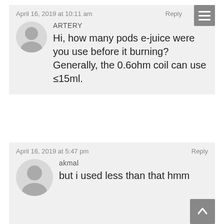April 16, 2019 at 10:11 am
Reply
ARTERY
Hi, how many pods e-juice were you use before it burning? Generally, the 0.6ohm coil can use ≤15ml.
April 16, 2019 at 5:47 pm
Reply
akmal
but i used less than that hmm